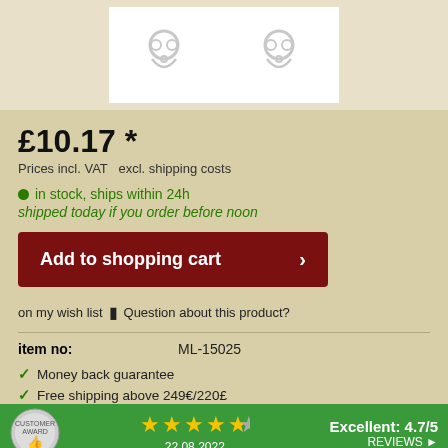[Figure (photo): Product images of silver chain clasps/rings on white background]
£10.17 *
Prices incl. VAT  excl. shipping costs
● in stock, ships within 24h
shipped today if you order before noon
Add to shopping cart >
on my wish list ■  Question about this product?
item no:   ML-15025
✓ Money back guarantee
✓ Free shipping above 249€/220£
[Figure (logo): Customer Award badge with thumbs up icon, 4.5 stars rating, Excellent 4.7/5, date 22.08.2022, REVIEWS link]